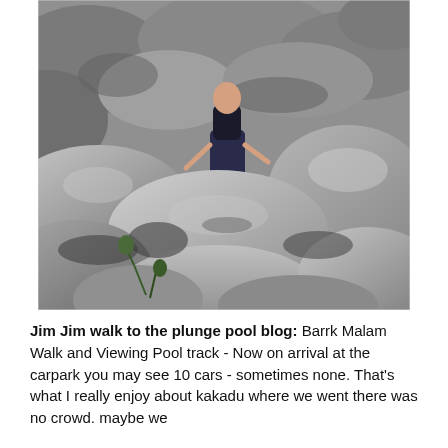[Figure (photo): A person hiking on large rounded boulders and rocky terrain, wearing a backpack and shorts, with sunlight and shadows on the rocks and sparse vegetation visible.]
Jim Jim walk to the plunge pool blog: Barrk Malam Walk and Viewing Pool track - Now on arrival at the carpark you may see 10 cars - sometimes none. That's what I really enjoy about kakadu where we went there was no crowd. maybe we